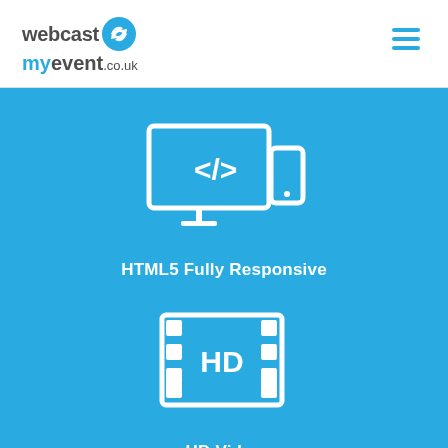[Figure (logo): webcastmyevent.co.uk logo with blue circular arrow icon]
[Figure (illustration): White icon of a desktop monitor showing </> code symbol with a mobile phone beside it, representing HTML5 Fully Responsive]
HTML5 Fully Responsive
[Figure (illustration): White icon of a film strip/video reel showing HD text in the center, representing HD Video]
HD Video